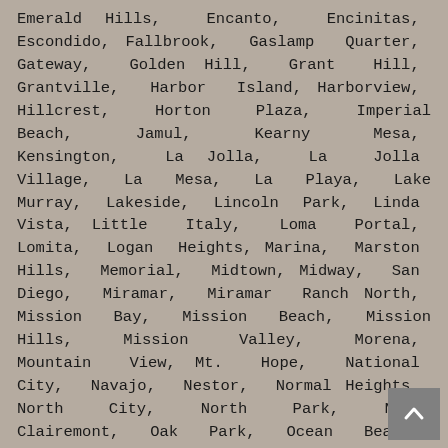Emerald Hills, Encanto, Encinitas, Escondido, Fallbrook, Gaslamp Quarter, Gateway, Golden Hill, Grant Hill, Grantville, Harbor Island, Harborview, Hillcrest, Horton Plaza, Imperial Beach, Jamul, Kearny Mesa, Kensington, La Jolla, La Jolla Village, La Mesa, La Playa, Lake Murray, Lakeside, Lincoln Park, Linda Vista, Little Italy, Loma Portal, Lomita, Logan Heights, Marina, Marston Hills, Memorial, Midtown, Midway, San Diego, Miramar, Miramar Ranch North, Mission Bay, Mission Beach, Mission Hills, Mission Valley, Morena, Mountain View, Mt. Hope, National City, Navajo, Nestor, Normal Heights, North City, North Park, North Clairemont, Oak Park, Ocean Beach, Ocean Crest, Ocean View Hills, Oceanside, Old Town, Otay Mesa, Otay Mesa West, Pacific Beach, Pacific Highlands Ranch, Palm City, Paradise Hills, Pauma, Point Loma, Point Loma Heights,